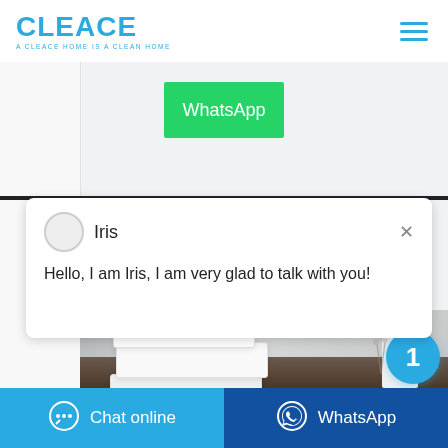[Figure (logo): CLEACE logo in blue with tagline 'A CLEACE HOME IS A CLEAN HOME']
[Figure (screenshot): WhatsApp green button]
[Figure (screenshot): Chat popup with avatar, name Iris, and greeting message]
Iris
Hello, I am Iris, I am very glad to talk with you!
[Figure (photo): Stacked white tissue/napkin boxes on dark table with cleace bottle and dried flowers]
1
Chat online
WhatsApp